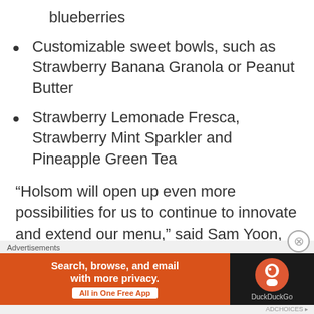blueberries
Customizable sweet bowls, such as Strawberry Banana Granola or Peanut Butter
Strawberry Lemonade Fresca, Strawberry Mint Sparkler and Pineapple Green Tea
“Holsom will open up even more possibilities for us to continue to innovate and extend our menu,” said Sam Yoon, Yogurtland senior vice president. “We’re confident Holsom will absolutely delight
Advertisements